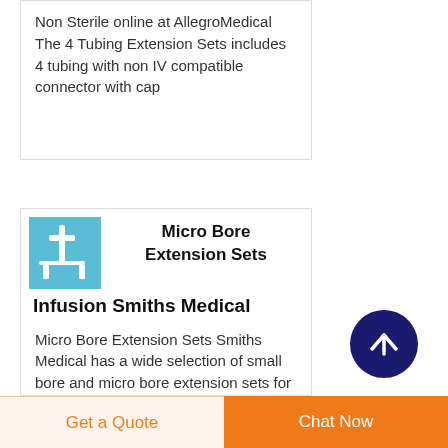Non Sterile online at AllegroMedical The 4 Tubing Extension Sets includes 4 tubing with non IV compatible connector with cap
[Figure (photo): Product image of Micro Bore Extension Sets - small medical tubing product on blue background]
Micro Bore Extension Sets
Infusion Smiths Medical
Micro Bore Extension Sets Smiths Medical has a wide selection of small bore and micro bore extension sets for use with our leading
Get a Quote
Chat Now